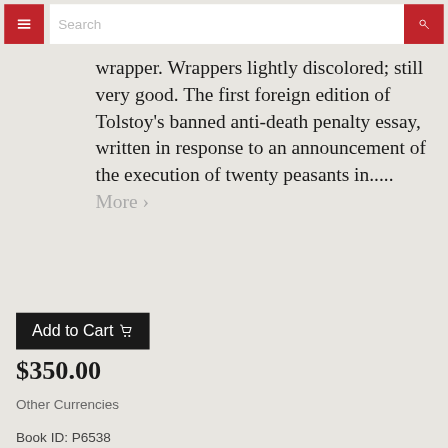Search
wrapper. Wrappers lightly discolored; still very good. The first foreign edition of Tolstoy's banned anti-death penalty essay, written in response to an announcement of the execution of twenty peasants in..... More >
Add to Cart
$350.00
Other Currencies
Book ID: P6538
Item Details
Ask a Question